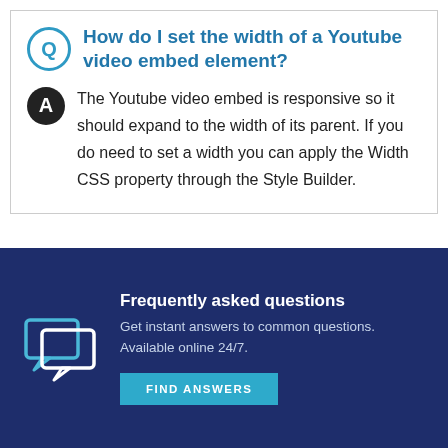How do I set the width of a Youtube video embed element?
The Youtube video embed is responsive so it should expand to the width of its parent. If you do need to set a width you can apply the Width CSS property through the Style Builder.
Frequently asked questions
Get instant answers to common questions. Available online 24/7.
FIND ANSWERS